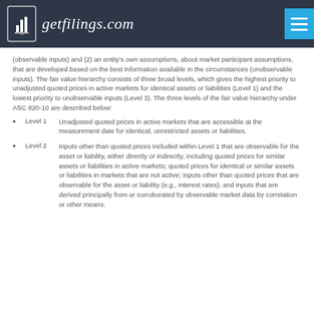getfilings.com
(observable inputs) and (2) an entity's own assumptions, about market participant assumptions, that are developed based on the best information available in the circumstances (unobservable inputs). The fair value hierarchy consists of three broad levels, which gives the highest priority to unadjusted quoted prices in active markets for identical assets or liabilities (Level 1) and the lowest priority to unobservable inputs (Level 3). The three levels of the fair value hierarchy under ASC 820-10 are described below:
Level 1 Unadjusted quoted prices in active markets that are accessible at the measurement date for identical, unrestricted assets or liabilities.
Level 2 Inputs other than quoted prices included within Level 1 that are observable for the asset or liability, either directly or indirectly, including quoted prices for similar assets or liabilities in active markets; quoted prices for identical or similar assets or liabilities in markets that are not active; inputs other than quoted prices that are observable for the asset or liability (e.g., interest rates); and inputs that are derived principally from or corroborated by observable market data by correlation or other means.